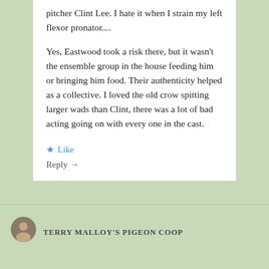pitcher Clint Lee. I hate it when I strain my left flexor pronator....
Yes, Eastwood took a risk there, but it wasn't the ensemble group in the house feeding him or bringing him food. Their authenticity helped as a collective. I loved the old crow spitting larger wads than Clint, there was a lot of bad acting going on with every one in the cast.
★ Like
Reply →
TERRY MALLOY'S PIGEON COOP